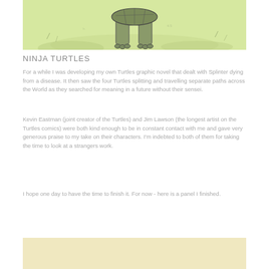[Figure (illustration): Partial illustration of a Ninja Turtle character standing in a light yellow-green grassy outdoor setting, shown from roughly waist down with shell visible, in a sketched/comic art style.]
NINJA TURTLES
For a while I was developing my own Turtles graphic novel that dealt with Splinter dying from a disease. It then saw the four Turtles splitting and travelling separate paths across the World as they searched for meaning in a future without their sensei.
Kevin Eastman (joint creator of the Turtles) and Jim Lawson (the longest artist on the Turtles comics) were both kind enough to be in constant contact with me and gave very generous praise to my take on their characters. I'm indebted to both of them for taking the time to look at a strangers work.
I hope one day to have the time to finish it. For now - here is a panel I finished.
[Figure (illustration): Bottom portion of another illustration panel with a beige/cream yellow background color, partially visible at the bottom of the page.]